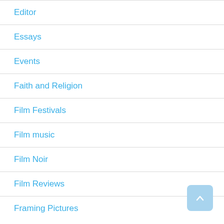Editor
Essays
Events
Faith and Religion
Film Festivals
Film music
Film Noir
Film Reviews
Framing Pictures